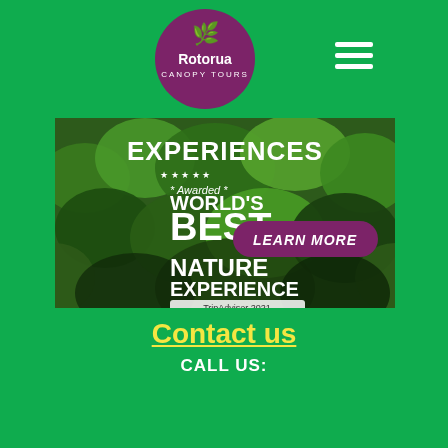[Figure (logo): Rotorua Canopy Tours circular logo in purple/magenta with leaf icon]
[Figure (photo): Hero banner image showing aerial canopy forest view with text overlays: EXPERIENCES, Awarded WORLD'S BEST NATURE EXPERIENCE TripAdvisor 2021, and a LEARN MORE button in purple]
Contact us
CALL US: